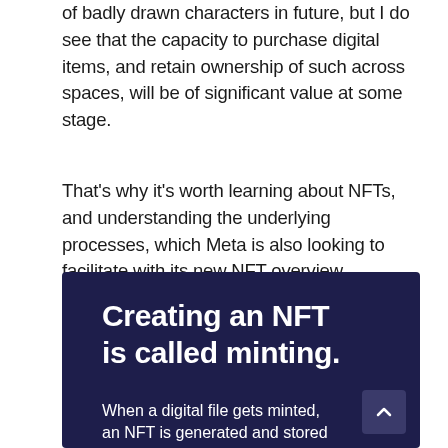of badly drawn characters in future, but I do see that the capacity to purchase digital items, and retain ownership of such across spaces, will be of significant value at some stage.
That's why it's worth learning about NFTs, and understanding the underlying processes, which Meta is also looking to facilitate with its new NFT overview.
[Figure (infographic): Dark navy blue infographic panel with white bold heading 'Creating an NFT is called minting.' and subtitle text 'When a digital file gets minted, an NFT is generated and stored'. A scroll-up arrow button is visible in the bottom-right corner.]